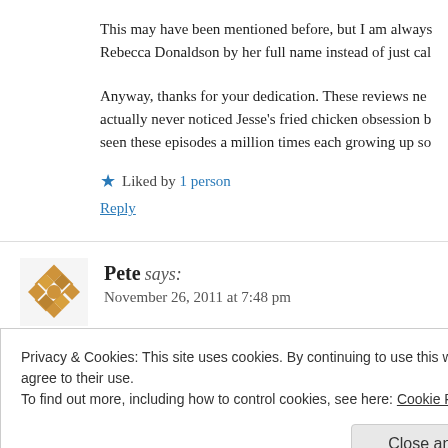This may have been mentioned before, but I am always... Rebecca Donaldson by her full name instead of just cal...
Anyway, thanks for your dedication. These reviews ne... actually never noticed Jesse's fried chicken obsession b... seen these episodes a million times each growing up so...
★ Liked by 1 person
Reply
Pete says:
November 26, 2011 at 7:48 pm
Privacy & Cookies: This site uses cookies. By continuing to use this website, you agree to their use.
To find out more, including how to control cookies, see here: Cookie Policy